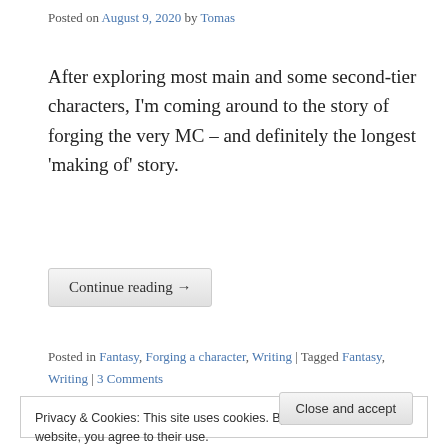Posted on August 9, 2020 by Tomas
After exploring most main and some second-tier characters, I'm coming around to the story of forging the very MC – and definitely the longest 'making of' story.
Continue reading →
Posted in Fantasy, Forging a character, Writing | Tagged Fantasy, Writing | 3 Comments
Privacy & Cookies: This site uses cookies. By continuing to use this website, you agree to their use.
To find out more, including how to control cookies, see here: Our Cookie Policy